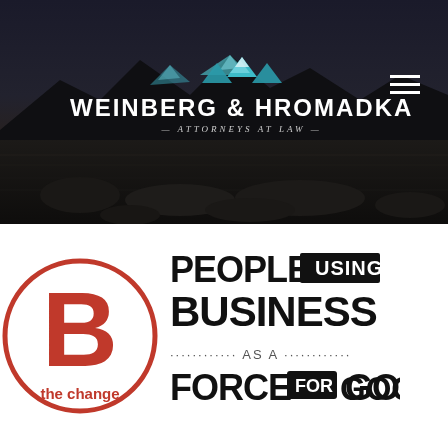[Figure (screenshot): Weinberg & Hromadka Attorneys at Law website hero banner with dark mountainous landscape background and company logo/name in white text, with hamburger menu icon top right]
[Figure (logo): B Corp 'B the Change' certification logo - red circle with large B and text 'the change' alongside tagline 'People Using Business As A Force For Good' in bold black typography]